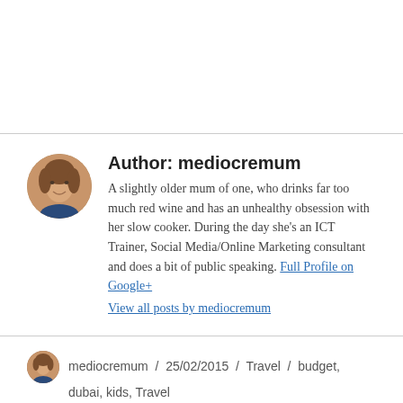[Figure (photo): Round portrait photo of a woman with blonde hair, author avatar]
Author: mediocremum
A slightly older mum of one, who drinks far too much red wine and has an unhealthy obsession with her slow cooker. During the day she's an ICT Trainer, Social Media/Online Marketing consultant and does a bit of public speaking. Full Profile on Google+
View all posts by mediocremum
[Figure (photo): Small round portrait photo of a woman, post author avatar]
mediocremum / 25/02/2015 / Travel / budget, dubai, kids, Travel